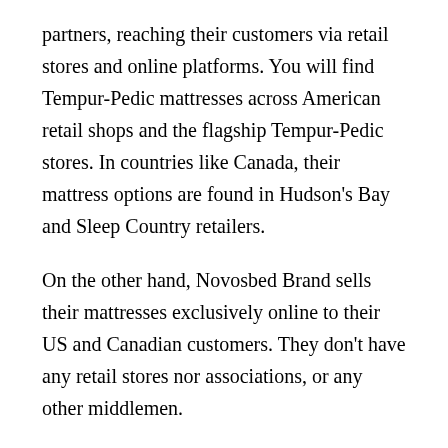partners, reaching their customers via retail stores and online platforms. You will find Tempur-Pedic mattresses across American retail shops and the flagship Tempur-Pedic stores. In countries like Canada, their mattress options are found in Hudson's Bay and Sleep Country retailers.
On the other hand, Novosbed Brand sells their mattresses exclusively online to their US and Canadian customers. They don't have any retail stores nor associations, or any other middlemen.
8. IN-STORE
Making purchases in stores comes with challenges like time consumption; making a decision can be